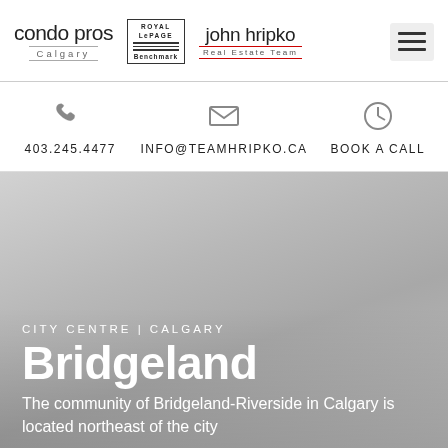[Figure (logo): Condo Pros Calgary logo, Royal LePage Benchmark logo, John Hripko Real Estate Team logo, and hamburger menu icon in website header]
403.245.4477
INFO@TEAMHRIPKO.CA
BOOK A CALL
Bridgeland
CITY CENTRE | CALGARY
The community of Bridgeland-Riverside in Calgary is located northeast of the city